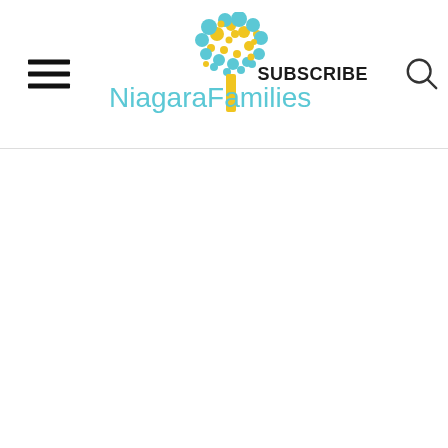NiagaraFamilies — SUBSCRIBE
[Figure (logo): NiagaraFamilies logo with a stylized tree made of teal and yellow circles above a yellow trunk, with teal text 'NiagaraFamilies' to the left of the trunk]